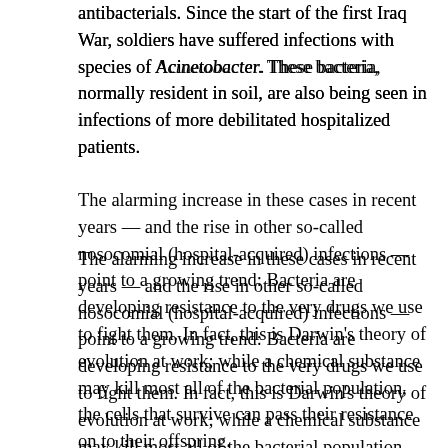antibacterials. Since the start of the first Iraq War, soldiers have suffered infections with species of Acinetobacter. These bacteria, normally resident in soil, are also being seen in infections of more debilitated hospitalized patients.
The alarming increase in these cases in recent years — and the rise in other so-called nosocomial (hospital-acquired) infections — point to a growing trend: Bacteria are developing resistance to the very drugs we use to fight them. In fact, this is Darwin's theory of evolution at work; while a chemical substance may kill most all of the bacterial population, the cells that survive can pass their resistance on to their offspring.
And this isn't the only risk involved with antibiotics. When commonly used first-line medications fail to control an infection, second and third-line antibiotics may be needed. These drugs tend to have more side effects (including increased toxicity to patients), and are frequently more expensive. According to the CDC, more than two million people each year incur antibiotic-